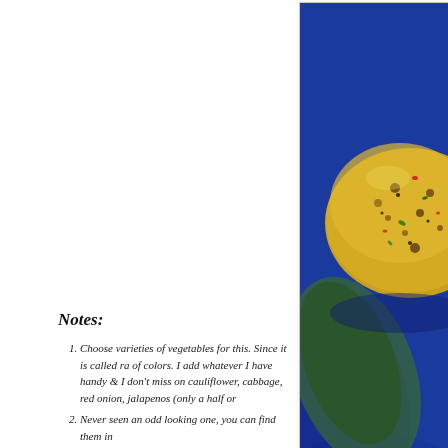[Figure (photo): A golden-yellow savory Indian cake/idli (rava idli or similar) on a dark blue plate, with bits of vegetables visible. Watermark text '© Savi-Ruchi' in dark red at bottom right of the image. The photo is cropped showing the top portion of the dish on a blue background.]
Notes:
Choose varieties of vegetables for this. Since it is called ra of colors. I add whatever I have handy & I don't miss on cauliflower, cabbage, red onion, jalapenos (only a half or
Never seen an odd looking one, you can find them in